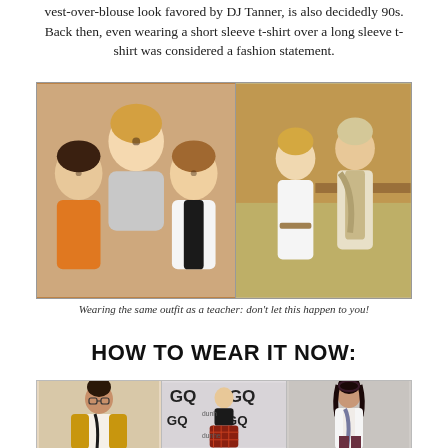vest-over-blouse look favored by DJ Tanner, is also decidedly 90s. Back then, even wearing a short sleeve t-shirt over a long sleeve t-shirt was considered a fashion statement.
[Figure (photo): Left: Three young people posing together, one wearing an orange shirt, one wearing a black vest over white shirt. Right: A woman wearing a vest over a blouse in what appears to be a school cafeteria scene.]
Wearing the same outfit as a teacher: don't let this happen to you!
HOW TO WEAR IT NOW:
[Figure (photo): Three modern fashion photos side by side: left shows a woman in glasses with a mustard cardigan and scarf; center shows a woman in a leather jacket over a plaid dress at a GQ event; right shows a woman in a white blazer with a floral scarf and dark pants.]